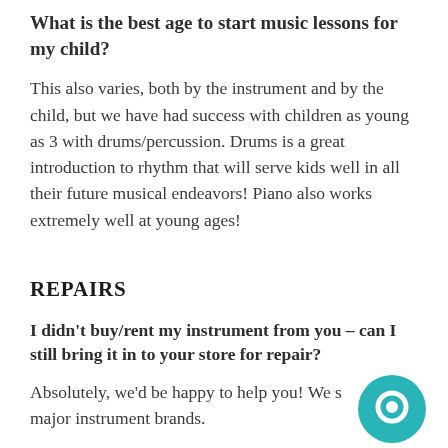What is the best age to start music lessons for my child?
This also varies, both by the instrument and by the child, but we have had success with children as young as 3 with drums/percussion. Drums is a great introduction to rhythm that will serve kids well in all their future musical endeavors! Piano also works extremely well at young ages!
REPAIRS
I didn't buy/rent my instrument from you – can I still bring it in to your store for repair?
Absolutely, we'd be happy to help you! We s all major instrument brands.
[Figure (illustration): Teal circular chat/help icon in the bottom right corner]